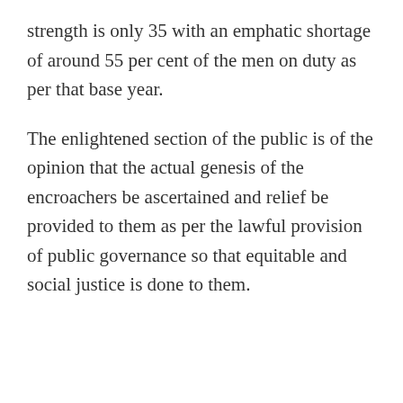strength is only 35 with an emphatic shortage of around 55 per cent of the men on duty as per that base year.
The enlightened section of the public is of the opinion that the actual genesis of the encroachers be ascertained and relief be provided to them as per the lawful provision of public governance so that equitable and social justice is done to them.